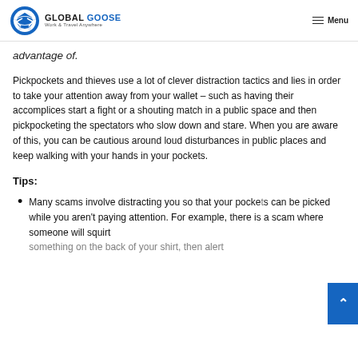GLOBAL GOOSE Work & Travel Anywhere | Menu
advantage of.
Pickpockets and thieves use a lot of clever distraction tactics and lies in order to take your attention away from your wallet – such as having their accomplices start a fight or a shouting match in a public space and then pickpocketing the spectators who slow down and stare. When you are aware of this, you can be cautious around loud disturbances in public places and keep walking with your hands in your pockets.
Tips:
Many scams involve distracting you so that your pockets can be picked while you aren't paying attention. For example, there is a scam where someone will squirt something on your back of your shirt, then alert